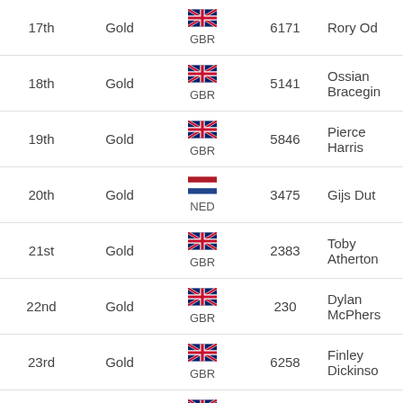| Rank | Medal | Country | Score | Name |
| --- | --- | --- | --- | --- |
| 17th | Gold | GBR | 6171 | Rory Od... |
| 18th | Gold | GBR | 5141 | Ossian Bracegin... |
| 19th | Gold | GBR | 5846 | Pierce Harris |
| 20th | Gold | NED | 3475 | Gijs Dut... |
| 21st | Gold | GBR | 2383 | Toby Atherton... |
| 22nd | Gold | GBR | 230 | Dylan McPhers... |
| 23rd | Gold | GBR | 6258 | Finley Dickinso... |
| 24th | Gold | GBR | 3672 | Alexand... Bate... |